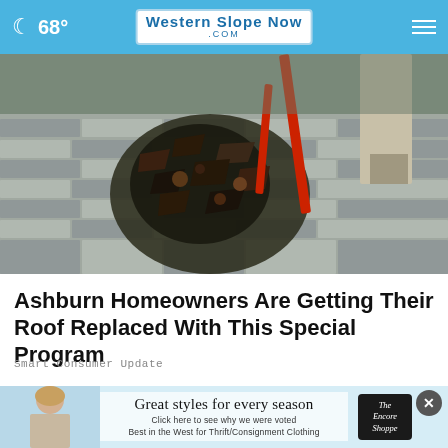68° Western Slope Now .com
[Figure (photo): Close-up photograph of a damaged roof being repaired, showing broken and scattered shingles with red equipment and a worker's leg visible]
Ashburn Homeowners Are Getting Their Roof Replaced With This Special Program
Smart Consumer Update
[Figure (photo): Advertisement banner for The Encore Shoppe showing a woman and text: Great styles for every season. Click here to see why we were voted Best in the West for Thrift/Consignment Clothing]